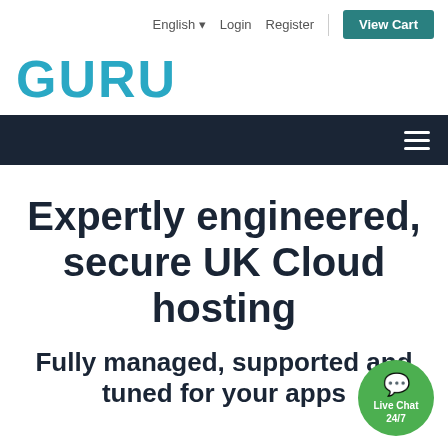English  Login  Register  View Cart
GURU
Expertly engineered, secure UK Cloud hosting
Fully managed, supported and tuned for your apps
[Figure (illustration): Live Chat 24/7 green chat bubble widget in bottom-right corner]